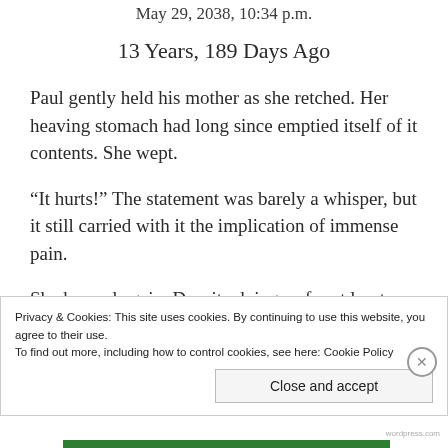May 29, 2038, 10:34 p.m.
13 Years, 189 Days Ago
Paul gently held his mother as she retched. Her heaving stomach had long since emptied itself of it contents. She wept.
“It hurts!” The statement was barely a whisper, but it still carried with it the implication of immense pain.
She heaved again. Despite doing so for at least five minutes, nothing came out. Each time she finished
Privacy & Cookies: This site uses cookies. By continuing to use this website, you agree to their use.
To find out more, including how to control cookies, see here: Cookie Policy
Close and accept